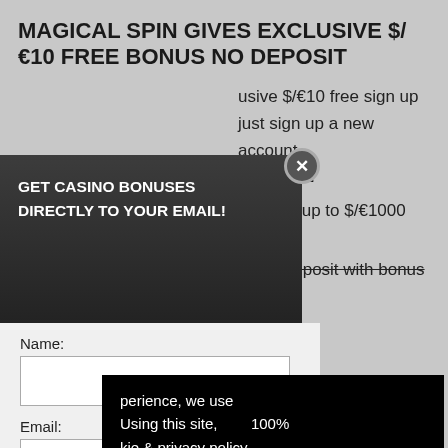MAGICAL SPIN GIVES EXCLUSIVE $/€10 FREE BONUS NO DEPOSIT
usive $/€10 free sign up
just sign up a new account
AL-10FE
ch bonus up to $/€1000 with
ave no deposit with bonus
perience, we use Using this site, kie & privacy policy.
ts from
[Figure (screenshot): Modal popup overlay with dark header reading GET CASINO BONUSES DIRECTLY TO YOUR EMAIL!, a white form section with Name and Email fields, a Submit button, and a disclaimer about Privacy and Cookie policy. Also shows a black cookie consent overlay with yellow button.]